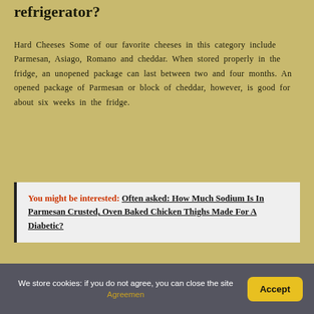refrigerator?
Hard Cheeses Some of our favorite cheeses in this category include Parmesan, Asiago, Romano and cheddar. When stored properly in the fridge, an unopened package can last between two and four months. An opened package of Parmesan or block of cheddar, however, is good for about six weeks in the fridge.
You might be interested: Often asked: How Much Sodium Is In Parmesan Crusted, Oven Baked Chicken Thighs Made For A Diabetic?
Can I store Parmesan cheese in the freezer?
We store cookies: if you do not agree, you can close the site Agreemen